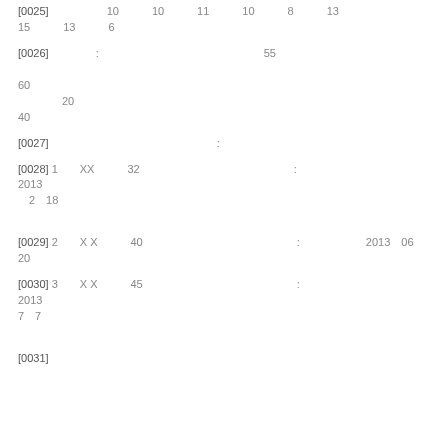[0025] 　　　　　10　　　10　　　11　　　10　　　8　　　13　　　15　　　13　　　6
[0026] 　　　　:　　　　　　　　　　　　　　　55　　　　　　　　　　　　　　　　　60　　　20　　　　　　　　　　　　　　　　　　　　　　　　　　　　　40
[0027] 　　　　　　　　　　　　　　　:
[0028] 1　　XX　　　32　　　　　　　　　　　　　　:　　　　　　　　　　　　2013　2　18
[0029] 2　　X X　　　40　　　　　　　　　　　　　　　:　　　　　　2013　06　20
[0030] 3　　X X　　　45　　　　　　　　　　　　　　:　　　　　　　　　　2013　7　7
[0031]